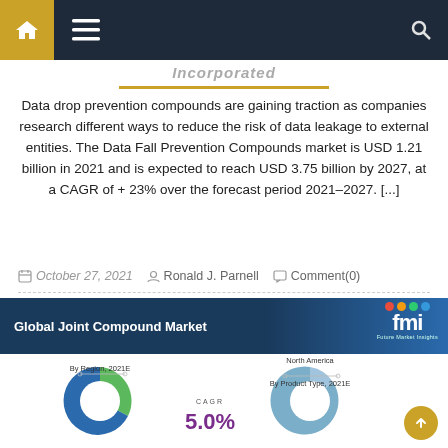Navigation bar with home, menu, and search icons
Incorporated
Data drop prevention compounds are gaining traction as companies research different ways to reduce the risk of data leakage to external entities. The Data Fall Prevention Compounds market is USD 1.21 billion in 2021 and is expected to reach USD 3.75 billion by 2027, at a CAGR of + 23% over the forecast period 2021-2027. [...]
October 27, 2021   Ronald J. Parnell   Comment(0)
[Figure (donut-chart): Two donut charts side by side: left shows By Region 2021E, right shows North America By Product Type 2021E. Center CAGR label shows 5.0%]